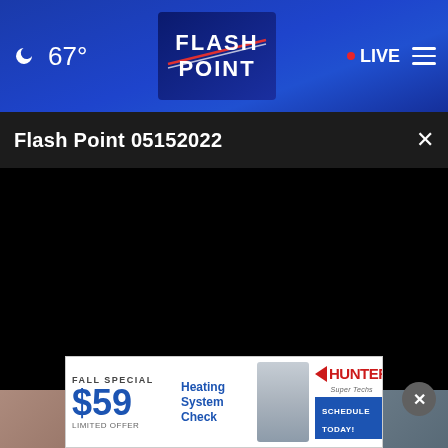67° FLASH POINT • LIVE
Flash Point 05152022
[Figure (screenshot): Black video player area showing a paused/loading video]
[Figure (photo): Thumbnail images at bottom of video page, left shows person, right shows industrial/HVAC equipment]
[Figure (infographic): Advertisement banner: FALL SPECIAL $59 Heating System Check LIMITED OFFER - Hunter Super Techs SCHEDULE TODAY!]